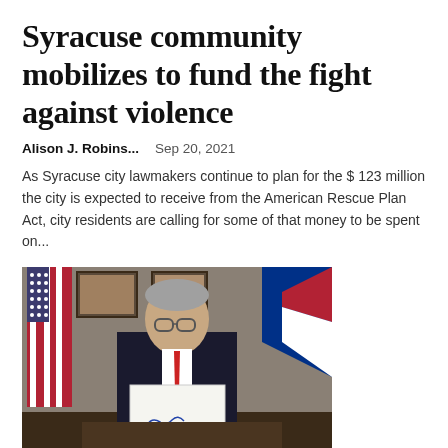Syracuse community mobilizes to fund the fight against violence
Alison J. Robins...   Sep 20, 2021
As Syracuse city lawmakers continue to plan for the $ 123 million the city is expected to receive from the American Rescue Plan Act, city residents are calling for some of that money to be spent on...
[Figure (photo): A man in a dark suit with a red tie sits at a desk holding up a signed document, with American flags in the background.]
Despite governor’s claims,